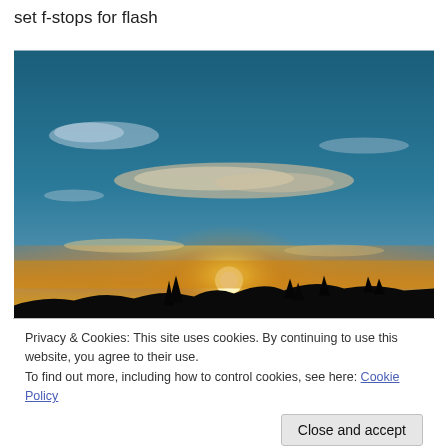set f-stops for flash
[Figure (photo): Landscape photograph of a sunset over dark hills/silhouette, with dramatic sky of blue, orange, and yellow tones, and wispy clouds illuminated by the setting sun.]
Privacy & Cookies: This site uses cookies. By continuing to use this website, you agree to their use.
To find out more, including how to control cookies, see here: Cookie Policy
this a reasonable shooter for most conditions. It is a bit more